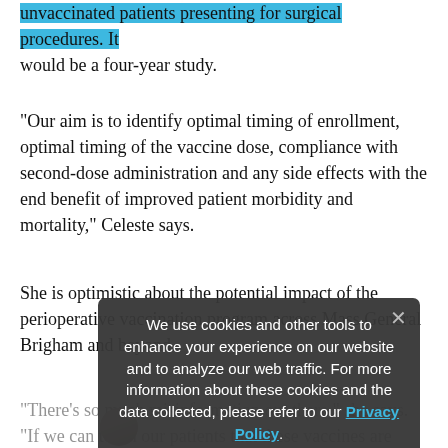unvaccinated patients presenting for surgical procedures. It would be a four-year study.
“Our aim is to identify optimal timing of enrollment, optimal timing of the vaccine dose, compliance with second-dose administration and any side effects with the end benefit of improved patient morbidity and mortality,” Celeste says.
She is optimistic about the potential impact of the perioperative vaccination program across Mass General Brigham and beyond.
“There’s so much misinformation out there,” she says. “If we can teach our patients that these vaccines are lifesaving and that hundreds of millions of people have been safely vaccinated, more of them will consider following suit.”
[Figure (screenshot): Cookie consent overlay popup with dark grey background showing text about cookies and web traffic, a link to Privacy Policy, a close (x) button, and attribution to Edward Bittner, MD, PhD, Program Director, Critical Care.]
Edward Bittner, MD, PhD
Program Director, Critical Care